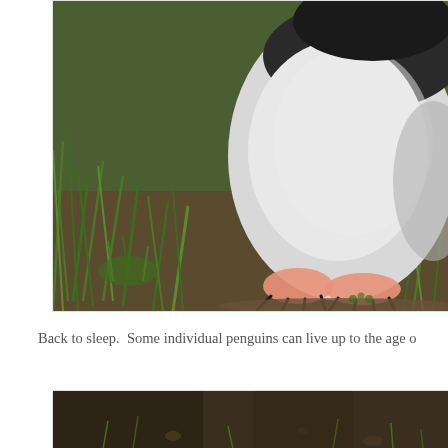[Figure (photo): Close-up photograph of a penguin lying down or sleeping, showing its white belly and chest with a black band, pink webbed feet with dark claws, surrounded by green grass and brown ground.]
Back to sleep.  Some individual penguins can live up to the age o
[Figure (photo): Bottom portion of a photograph showing a dark, earthy ground with sparse green vegetation.]